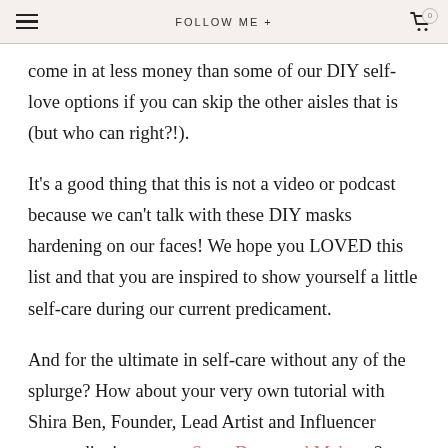≡   FOLLOW ME +   🛒 0
come in at less money than some of our DIY self-love options if you can skip the other aisles that is (but who can right?!).
It's a good thing that this is not a video or podcast because we can't talk with these DIY masks hardening on our faces! We hope you LOVED this list and that you are inspired to show yourself a little self-care during our current predicament.
And for the ultimate in self-care without any of the splurge? How about your very own tutorial with Shira Ben, Founder, Lead Artist and Influencer extraordinaire over at Stop, Drop, and Makeup? Visit her on Facebook to see all of